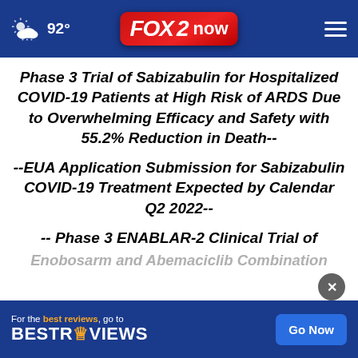92° FOX 2 now
Phase 3 Trial of Sabizabulin for Hospitalized COVID-19 Patients at High Risk of ARDS Due to Overwhelming Efficacy and Safety with 55.2% Reduction in Death--
--EUA Application Submission for Sabizabulin COVID-19 Treatment Expected by Calendar Q2 2022--
-- Phase 3 ENABLAR-2 Clinical Trial of Enobosarm and Abemaciclib Combination
[Figure (screenshot): BestReviews advertisement banner with 'Go Now' button]